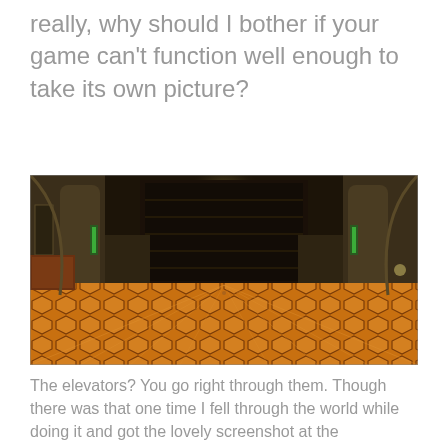really, why should I bother if your game can't function well enough to take its own picture?
[Figure (screenshot): A dark video game screenshot showing a large grand interior hall with ornate stone columns on either side, a massive dark door or gate in the center background, a glowing yellow light on the ceiling, and a distinctive orange/yellow hexagonal tile pattern floor in the foreground.]
The elevators? You go right through them. Though there was that one time I fell through the world while doing it and got the lovely screenshot at the